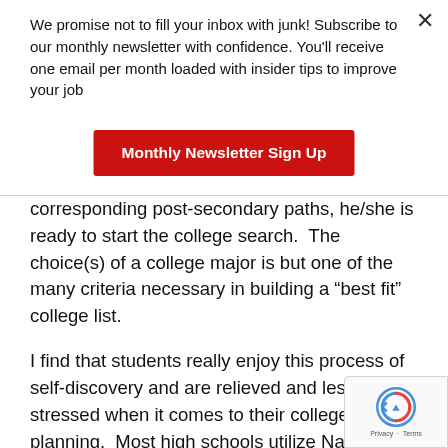We promise not to fill your inbox with junk! Subscribe to our monthly newsletter with confidence. You'll receive one email per month loaded with insider tips to improve your job
Monthly Newsletter Sign Up
corresponding post-secondary paths, he/she is ready to start the college search. The choice(s) of a college major is but one of the many criteria necessary in building a "best fit" college list.
I find that students really enjoy this process of self-discovery and are relieved and less stressed when it comes to their college planning. Most high schools utilize Naviance, which offers college and career planning tools, including career assessments. Students should check with